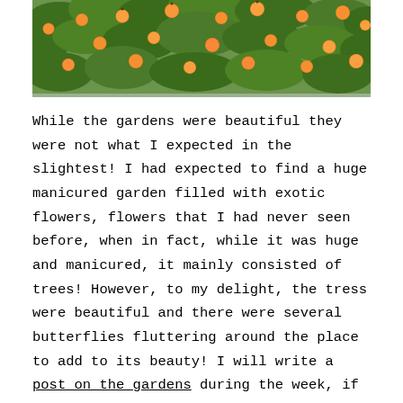[Figure (photo): Photograph of an orange/citrus tree with many ripe orange fruits hanging among dense green leaves, viewed from below looking up.]
While the gardens were beautiful they were not what I expected in the slightest! I had expected to find a huge manicured garden filled with exotic flowers, flowers that I had never seen before, when in fact, while it was huge and manicured, it mainly consisted of trees! However, to my delight, the tress were beautiful and there were several butterflies fluttering around the place to add to its beauty! I will write a post on the gardens during the week, if I get